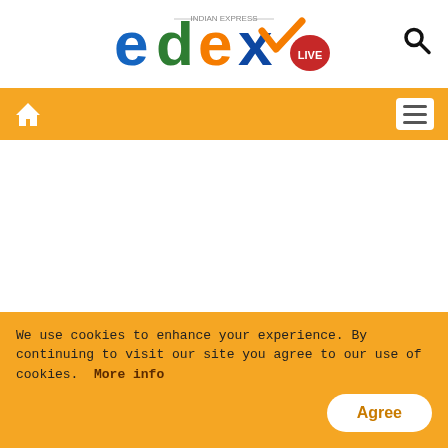[Figure (logo): Edex Live logo by Indian Express — colorful letters e, d, e, x with a checkmark and red LIVE badge]
Edex Live navigation bar with home icon and hamburger menu
Speaking on why exactly these collaborations are necessary and why the delegation had come to visit now, Wickham
We use cookies to enhance your experience. By continuing to visit our site you agree to our use of cookies. More info Agree